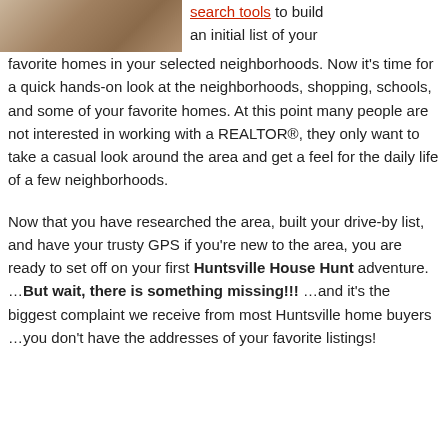[Figure (photo): A photo of a house or neighborhood scene, partially visible at the top left corner of the page.]
search tools to build an initial list of your favorite homes in your selected neighborhoods. Now it's time for a quick hands-on look at the neighborhoods, shopping, schools, and some of your favorite homes. At this point many people are not interested in working with a REALTOR®, they only want to take a casual look around the area and get a feel for the daily life of a few neighborhoods.
Now that you have researched the area, built your drive-by list, and have your trusty GPS if you're new to the area, you are ready to set off on your first Huntsville House Hunt adventure. …But wait, there is something missing!!! …and it's the biggest complaint we receive from most Huntsville home buyers …you don't have the addresses of your favorite listings!